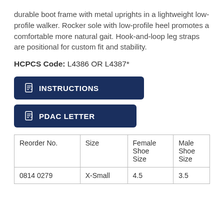durable boot frame with metal uprights in a lightweight low-profile walker. Rocker sole with low-profile heel promotes a comfortable more natural gait. Hook-and-loop leg straps are positional for custom fit and stability.
HCPCS Code: L4386 OR L4387*
INSTRUCTIONS
PDAC LETTER
| Reorder No. | Size | Female Shoe Size | Male Shoe Size |
| --- | --- | --- | --- |
| 0814 0279 | X-Small | 4.5 | 3.5 |